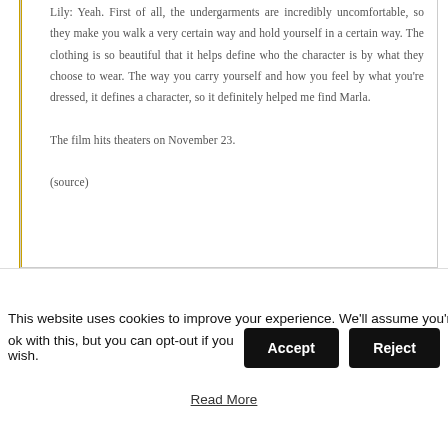Lily: Yeah. First of all, the undergarments are incredibly uncomfortable, so they make you walk a very certain way and hold yourself in a certain way. The clothing is so beautiful that it helps define who the character is by what they choose to wear. The way you carry yourself and how you feel by what you're dressed, it defines a character, so it definitely helped me find Marla.

The film hits theaters on November 23.

(source)
This website uses cookies to improve your experience. We'll assume you're ok with this, but you can opt-out if you wish. Accept Reject Read More